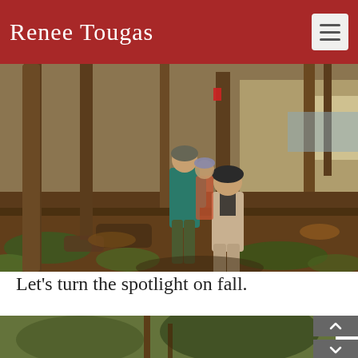Renee Tougas
[Figure (photo): Two people walking along a forest trail through trees with autumn ground cover, ferns, and dappled sunlight. One person wears a teal/blue long-sleeve shirt and cap, the other wears a tan outfit and dark hat.]
Let's turn the spotlight on fall.
[Figure (photo): Partial view of a second outdoor nature/fall scene photo, partially cropped at page bottom.]